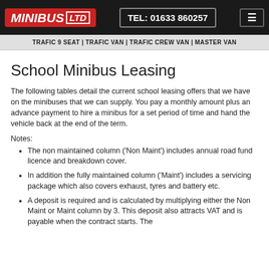MINIBUS LTD | TEL: 01633 860257
TRAFIC 9 SEAT | TRAFIC VAN | TRAFIC CREW VAN | MASTER VAN
School Minibus Leasing
The following tables detail the current school leasing offers that we have on the minibuses that we can supply. You pay a monthly amount plus an advance payment to hire a minibus for a set period of time and hand the vehicle back at the end of the term.
Notes:
The non maintained column ('Non Maint') includes annual road fund licence and breakdown cover.
In addition the fully maintained column ('Maint') includes a servicing package which also covers exhaust, tyres and battery etc.
A deposit is required and is calculated by multiplying either the Non Maint or Maint column by 3. This deposit also attracts VAT and is payable when the contract starts. The